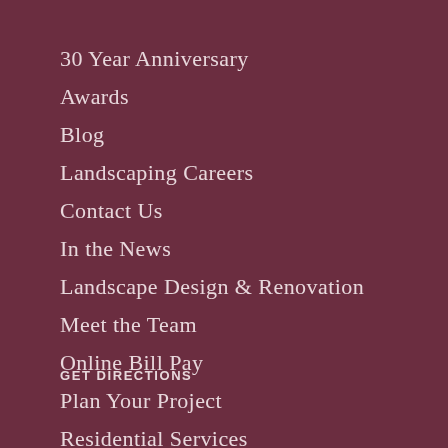30 Year Anniversary
Awards
Blog
Landscaping Careers
Contact Us
In the News
Landscape Design & Renovation
Meet the Team
Online Bill Pay
Plan Your Project
Residential Services
GET DIRECTIONS